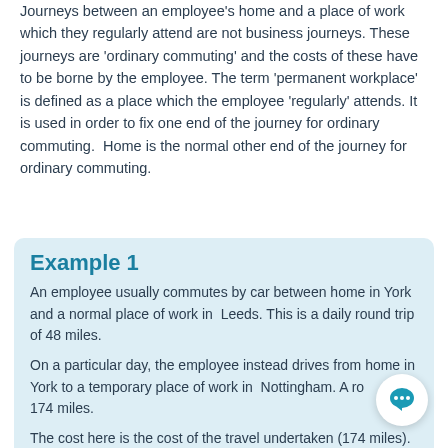Journeys between an employee's home and a place of work which they regularly attend are not business journeys. These journeys are 'ordinary commuting' and the costs of these have to be borne by the employee. The term 'permanent workplace' is defined as a place which the employee 'regularly' attends. It is used in order to fix one end of the journey for ordinary commuting.  Home is the normal other end of the journey for ordinary commuting.
Example 1
An employee usually commutes by car between home in York and a normal place of work in  Leeds. This is a daily round trip of 48 miles.
On a particular day, the employee instead drives from home in York to a temporary place of work in  Nottingham. A round trip of 174 miles.
The cost here is the cost of the travel undertaken (174 miles). A